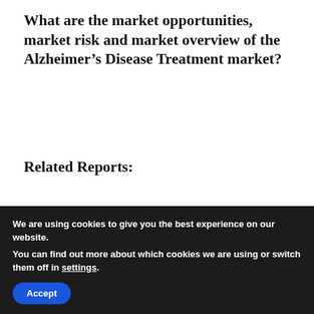What are the market opportunities, market risk and market overview of the Alzheimer's Disease Treatment market?
Related Reports:
Global Dermatology Diagnostic Devices Market, iagnostic Device (Imaging Device, natoscope, Microscope), Treatment Device trosurgical, Cryotherapy, Laser), Type matoscopes, Imaging Equipment, Microscopes and Trichoscopes, Biopsy Devices,
We are using cookies to give you the best experience on our website.
You can find out more about which cookies we are using or switch them off in settings.
Accept